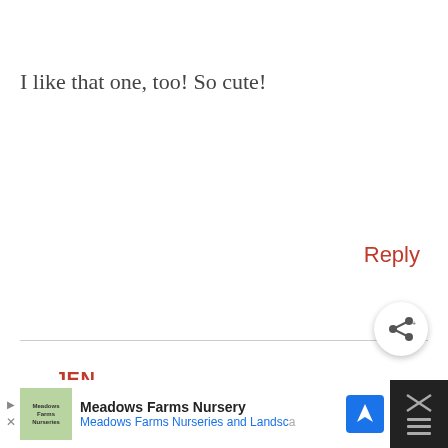I like that one, too! So cute!
Reply
JEN
MARCH 7, 2013 AT 3:48 PM
I like the personalized easter placemats!
[Figure (other): Share button icon]
[Figure (other): Advertisement banner for Meadows Farms Nursery with logo, text 'Meadows Farms Nurseries and Landsc...' and navigation icon]